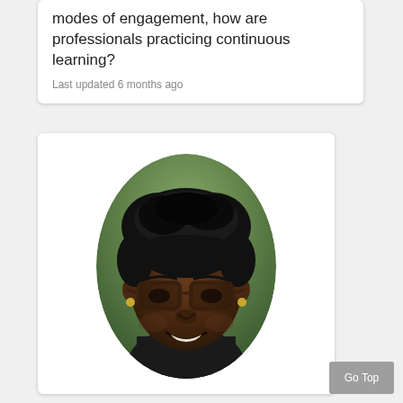modes of engagement, how are professionals practicing continuous learning?
Last updated 6 months ago
[Figure (photo): Headshot photo of a smiling woman with short dark hair and large-framed glasses, wearing a dark turtleneck, with a blurred green background.]